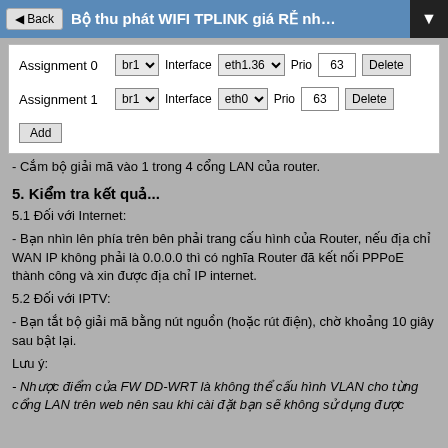Bộ thu phát WIFI TPLINK giá RẺ nhưng giá t...
[Figure (screenshot): Router configuration UI showing Assignment 0 with br1/eth1.36/Prio 63 and Assignment 1 with br1/eth0/Prio 63, with Add button]
- Cắm bộ giải mã vào 1 trong 4 cổng LAN của router.
5. Kiểm tra kết quả...
5.1 Đối với Internet:
- Bạn nhìn lên phía trên bên phải trang cấu hình của Router, nếu địa chỉ WAN IP không phải là 0.0.0.0 thì có nghĩa Router đã kết nối PPPoE thành công và xin được địa chỉ IP internet.
5.2 Đối với IPTV:
- Bạn tắt bộ giải mã bằng nút nguồn (hoặc rút điện), chờ khoảng 10 giây sau bật lại.
Lưu ý:
- Nhược điểm của FW DD-WRT là không thể cấu hình VLAN cho từng cổng LAN trên web nên sau khi cài đặt bạn sẽ không sử dụng được...